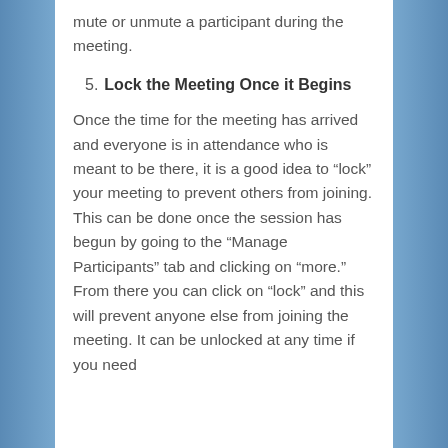mute or unmute a participant during the meeting.
5. Lock the Meeting Once it Begins
Once the time for the meeting has arrived and everyone is in attendance who is meant to be there, it is a good idea to “lock” your meeting to prevent others from joining. This can be done once the session has begun by going to the “Manage Participants” tab and clicking on “more.” From there you can click on “lock” and this will prevent anyone else from joining the meeting. It can be unlocked at any time if you need